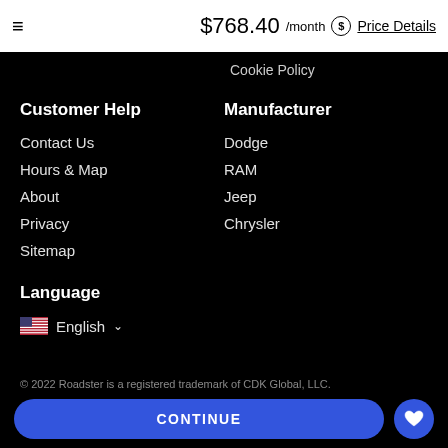≡  $768.40 /month $ Price Details
Cookie Policy
Customer Help
Contact Us
Hours & Map
About
Privacy
Sitemap
Manufacturer
Dodge
RAM
Jeep
Chrysler
Language
English ∨
© 2022 Roadster is a registered trademark of CDK Global, LLC.
CONTINUE